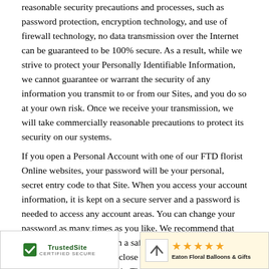reasonable security precautions and processes, such as password protection, encryption technology, and use of firewall technology, no data transmission over the Internet can be guaranteed to be 100% secure. As a result, while we strive to protect your Personally Identifiable Information, we cannot guarantee or warrant the security of any information you transmit to or from our Sites, and you do so at your own risk. Once we receive your transmission, we will take commercially reasonable precautions to protect its security on our systems.
If you open a Personal Account with one of our FTD florist Online websites, your password will be your personal, secret entry code to that Site. When you access your account information, it is kept on a secure server and a password is needed to access any account areas. You can change your password as many times as you like. We recommend that you keep your password in a safe place and that you always sign off your account and close your browser window once you have finished your visit. These precautions will help prevent someone else from accessing your account, especially if you share a computer with other pe... a public place such as an Internet c...
[Figure (logo): TrustedSite Certified Secure badge with green checkmark]
[Figure (logo): Eaton Floral Balloons & Gifts rating badge with 5 orange stars]